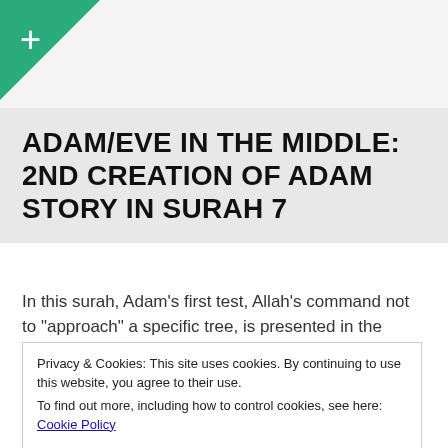[Figure (logo): Green triangle in top-left corner with white plus sign]
ADAM/EVE IN THE MIDDLE: 2ND CREATION OF ADAM STORY IN SURAH 7
In this surah, Adam’s first test, Allah’s command not to “approach” a specific tree, is presented in the center, placing Adam in the central focus of this narrative, “surrounded” in the ring composition, by Satan’s rebellion and
Privacy & Cookies: This site uses cookies. By continuing to use this website, you agree to their use.
To find out more, including how to control cookies, see here: Cookie Policy
But Satan failed in his ultimate goal, to make